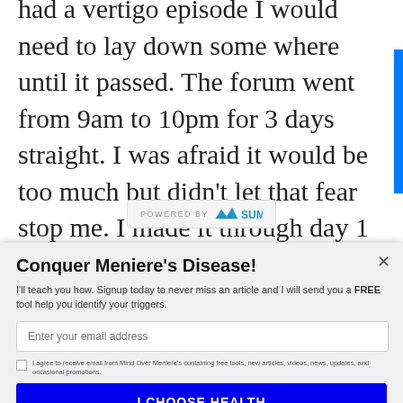had a vertigo episode I would need to lay down some where until it passed. The forum went from 9am to 10pm for 3 days straight. I was afraid it would be too much but didn't let that fear stop me. I made it through day 1 vertigo free and was very excited for day 2. It fast started around 2
[Figure (logo): POWERED BY SUMO logo badge]
Conquer Meniere's Disease!
I'll teach you how. Signup today to never miss an article and I will send you a FREE tool help you identify your triggers.
Enter your email address
I agree to receive email from Mind Over Meniere's containing free tools, new articles, videos, news, updates, and occasional promotions.
I CHOOSE HEALTH